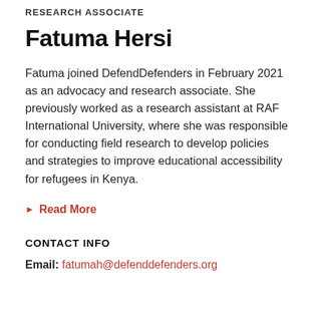RESEARCH ASSOCIATE
Fatuma Hersi
Fatuma joined DefendDefenders in February 2021 as an advocacy and research associate. She previously worked as a research assistant at RAF International University, where she was responsible for conducting field research to develop policies and strategies to improve educational accessibility for refugees in Kenya.
▶ Read More
CONTACT INFO
Email: fatumah@defenddefenders.org